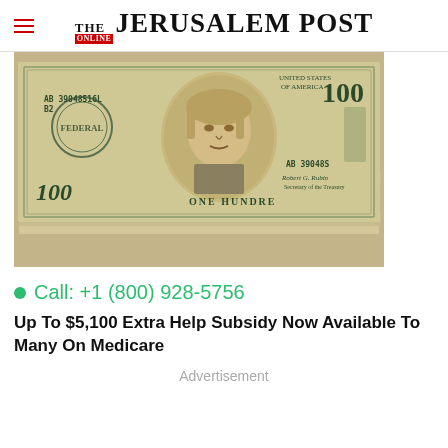THE JERUSALEM POST
[Figure (photo): A stack of US $100 dollar bills, with the top bill showing Benjamin Franklin's portrait, serial number AB 39048516L B2, and the text ONE HUNDRED DOLLARS]
Call: +1 (800) 928-5756
Up To $5,100 Extra Help Subsidy Now Available To Many On Medicare
Advertisement